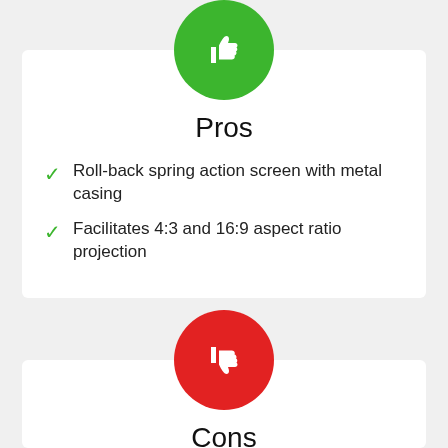[Figure (illustration): Green circle with white thumbs-up icon]
Pros
Roll-back spring action screen with metal casing
Facilitates 4:3 and 16:9 aspect ratio projection
[Figure (illustration): Red circle with white thumbs-down icon]
Cons
Non-standard size